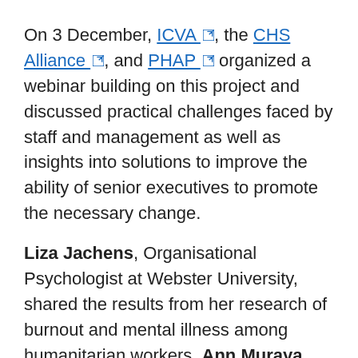On 3 December, ICVA, the CHS Alliance, and PHAP organized a webinar building on this project and discussed practical challenges faced by staff and management as well as insights into solutions to improve the ability of senior executives to promote the necessary change.
Liza Jachens, Organisational Psychologist at Webster University, shared the results from her research of burnout and mental illness among humanitarian workers. Ann Muraya, Director of Organisation Health for Thrive Worldwide, discussed what it means to have a healthy organizational culture. Melissa Pitotti, consultant for the ICVA-CHS Alliance joint project looking at the CEO role in driving organisational culture change and co-Initiator of the CHS Alliance Initiative to Cultivate Caring, Compassionate Aid Organisations, provided a summary of the findings generated from recent interviews and focus group discussions with CEOs. Amanda Khozi Mukwashi, CEO of